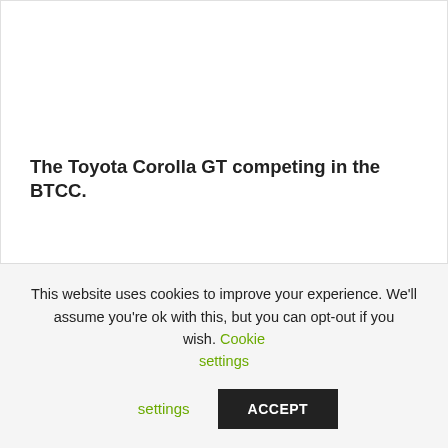The Toyota Corolla GT competing in the BTCC.
Previous
Renewed call for lower drink drive limits
Next
Something to get your teeth into!
This website uses cookies to improve your experience. We'll assume you're ok with this, but you can opt-out if you wish. Cookie settings ACCEPT